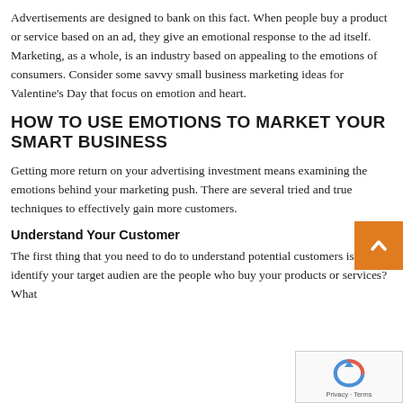Advertisements are designed to bank on this fact. When people buy a product or service based on an ad, they give an emotional response to the ad itself. Marketing, as a whole, is an industry based on appealing to the emotions of consumers. Consider some savvy small business marketing ideas for Valentine's Day that focus on emotion and heart.
HOW TO USE EMOTIONS TO MARKET YOUR SMART BUSINESS
Getting more return on your advertising investment means examining the emotions behind your marketing push. There are several tried and true techniques to effectively gain more customers.
Understand Your Customer
The first thing that you need to do to understand potential customers is identify your target audien are the people who buy your products or services? What